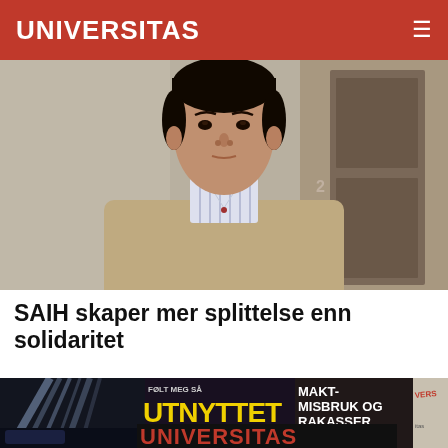UNIVERSITAS
[Figure (photo): Young Asian man in a beige/tan knit sweater over a striped collared shirt, standing in front of a door with the number 2, looking at the camera with a neutral expression.]
SAIH skaper mer splittelse enn solidaritet
[Figure (photo): Collage of Universitas magazine covers showing text: 'FØLT MEG SÅ UTNYTTET', 'MAKT-MISBRUK OG RAKASSER', and the Universitas logo in red.]